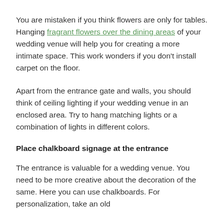You are mistaken if you think flowers are only for tables. Hanging fragrant flowers over the dining areas of your wedding venue will help you for creating a more intimate space. This work wonders if you don't install carpet on the floor.
Apart from the entrance gate and walls, you should think of ceiling lighting if your wedding venue in an enclosed area. Try to hang matching lights or a combination of lights in different colors.
Place chalkboard signage at the entrance
The entrance is valuable for a wedding venue. You need to be more creative about the decoration of the same. Here you can use chalkboards. For personalization, take an old